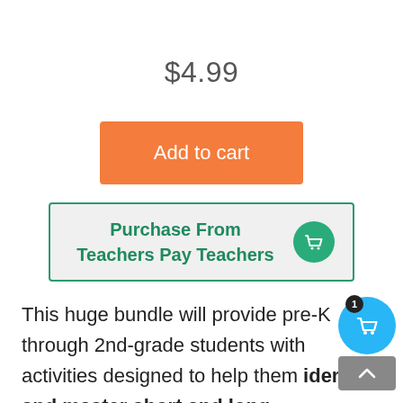$4.99
[Figure (other): Orange 'Add to cart' button]
[Figure (other): Green-bordered 'Purchase From Teachers Pay Teachers' button with shopping basket icon]
This huge bundle will provide pre-K through 2nd-grade students with activities designed to help them identify and master short and long